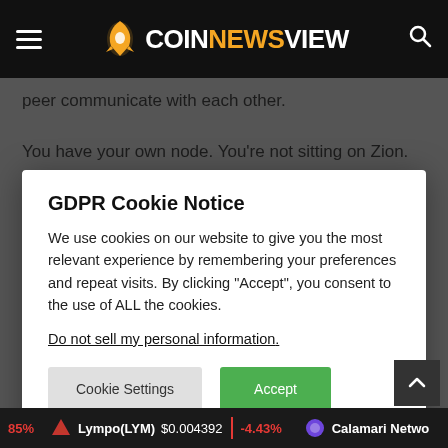COINNEWSVIEW
peer communicate with each other.
You have your own node. You're not sitting on Zion. That's
GDPR Cookie Notice
We use cookies on our website to give you the most relevant experience by remembering your preferences and repeat visits. By clicking “Accept”, you consent to the use of ALL the cookies.
Do not sell my personal information.
Cookie Settings
Accept
under the ground and that allowed a phone call to happen
Of course not, you would never say that!
The reason this illegal activity happened was because
85%  Lympo(LYM)  $0.004392  -4.43%  Calamari Netwo